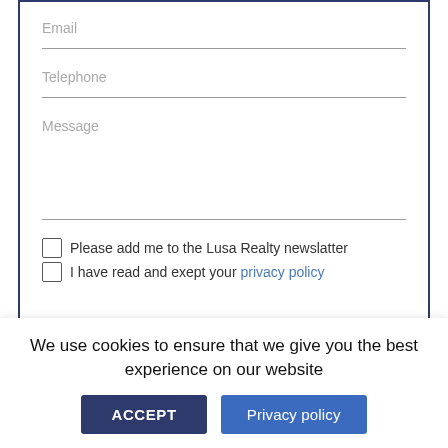Email
Telephone
Message
Please add me to the Lusa Realty newslatter
I have read and exept your privacy policy
We use cookies to ensure that we give you the best experience on our website
ACCEPT
Privacy policy